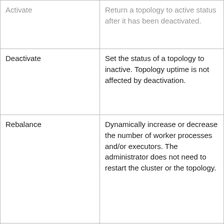| Action | Description |
| --- | --- |
| Activate | Return a topology to active status after it has been deactivated. |
| Deactivate | Set the status of a topology to inactive. Topology uptime is not affected by deactivation. |
| Rebalance | Dynamically increase or decrease the number of worker processes and/or executors. The administrator does not need to restart the cluster or the topology. |
| Kill | Stop the topology and remove it from Apache Storm. The topology no longer appears in the Storm |